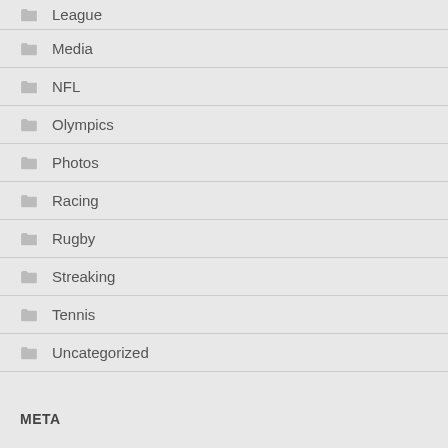League
Media
NFL
Olympics
Photos
Racing
Rugby
Streaking
Tennis
Uncategorized
META